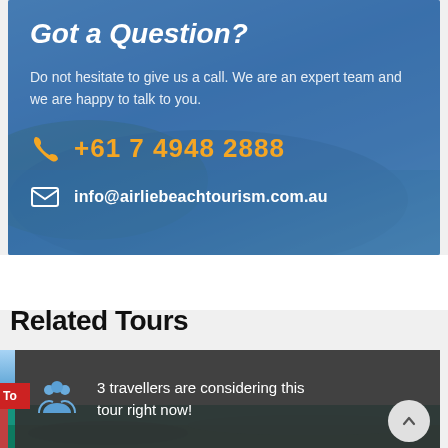Got a Question?
Do not hesitate to give us a call. We are an expert team and we are happy to talk to you.
+61 7 4948 2888
info@airliebeachtourism.com.au
Related Tours
3 travellers are considering this tour right now!